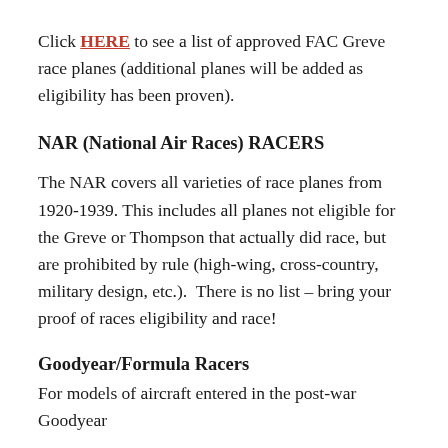Click HERE to see a list of approved FAC Greve race planes (additional planes will be added as eligibility has been proven).
NAR (National Air Races) RACERS
The NAR covers all varieties of race planes from 1920-1939. This includes all planes not eligible for the Greve or Thompson that actually did race, but are prohibited by rule (high-wing, cross-country, military design, etc.).  There is no list – bring your proof of races eligibility and race!
Goodyear/Formula Racers
For models of aircraft entered in the post-war Goodyear